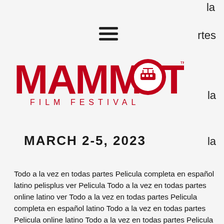[Figure (logo): Mammoth Film Festival logo in red, with a cable car gondola inside the letter O]
MARCH 2-5, 2023
Todo a la vez en todas partes Pelicula completa en español latino pelisplus ver Pelicula Todo a la vez en todas partes online latino ver Todo a la vez en todas partes Pelicula completa en español latino Todo a la vez en todas partes Pelicula online latino Todo a la vez en todas partes Pelicula completa repelis Todo a la vez en todas partes Pelicula completa en español